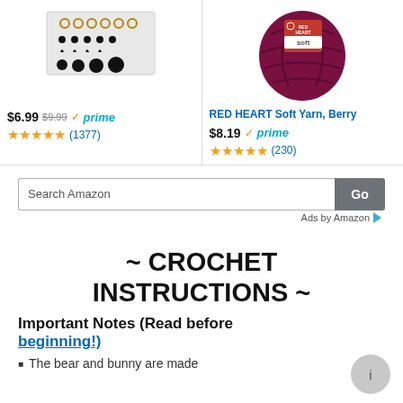[Figure (screenshot): Amazon product listing for craft safety eyes assortment, showing price $6.99 (was $9.99), Prime badge, and 4.5 star rating (1377 reviews)]
[Figure (screenshot): Amazon product listing for RED HEART Soft Yarn Berry, showing price $8.19, Prime badge, and 4.5 star rating (230 reviews)]
[Figure (screenshot): Amazon search bar with Go button and Ads by Amazon label]
~ CROCHET INSTRUCTIONS ~
Important Notes (Read before beginning!)
The bear and bunny are made